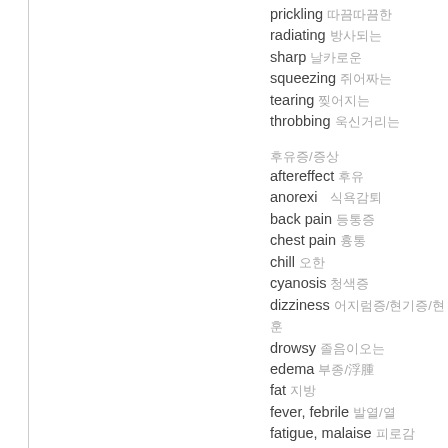prickling 따끔따끔한
radiating 방사되는
sharp 날카로운
squeezing 쥐어짜는
tearing 찢어지는
throbbing 욱신거리는
후유증/증상
aftereffect 후유
anorexi　식욕감퇴
back pain 등통증
chest pain 흉통
chill 오한
cyanosis 청색증
dizziness 어지럼증/현기증/현훈
drowsy 졸음이오는
edema 부종/浮腫
fat 지방
fever, febrile 발열/열
fatigue, malaise 피로감
headache 두통
hot flush 상열감
itchiness, itchy 가렵다, 가려운